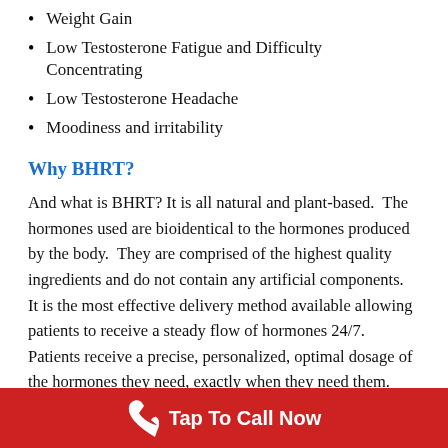Weight Gain
Low Testosterone Fatigue and Difficulty Concentrating
Low Testosterone Headache
Moodiness and irritability
Why BHRT?
And what is BHRT? It is all natural and plant-based.  The hormones used are bioidentical to the hormones produced by the body.  They are comprised of the highest quality ingredients and do not contain any artificial components.  It is the most effective delivery method available allowing patients to receive a steady flow of hormones 24/7.  Patients receive a precise, personalized, optimal dosage of the hormones they need, exactly when they need them.  This avoids the rollercoaster of the high ups and downs.  Because of this, you don’t have to worry about bioidentical
Tap To Call Now